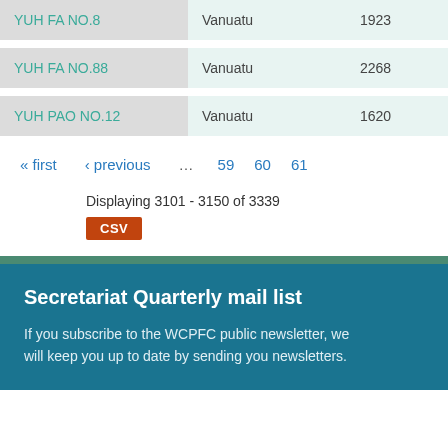| Vessel Name | Flag | Number |
| --- | --- | --- |
| YUH FA NO.8 | Vanuatu | 1923 |
| YUH FA NO.88 | Vanuatu | 2268 |
| YUH PAO NO.12 | Vanuatu | 1620 |
« first ‹ previous … 59 60 61
Displaying 3101 - 3150 of 3339
CSV
Secretariat Quarterly mail list
If you subscribe to the WCPFC public newsletter, we will keep you up to date by sending you newsletters.